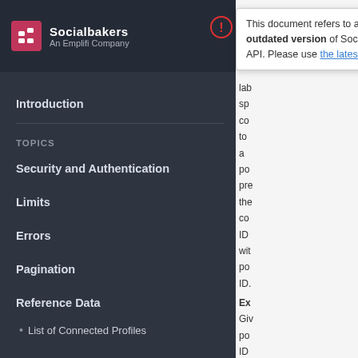[Figure (logo): Socialbakers / Emplifi company logo with pink icon]
Introduction
TOPICS
Security and Authentication
Limits
Errors
Pagination
Reference Data
List of Connected Profiles
This document refers to an outdated version of Socialbakers API. Please use the latest version.